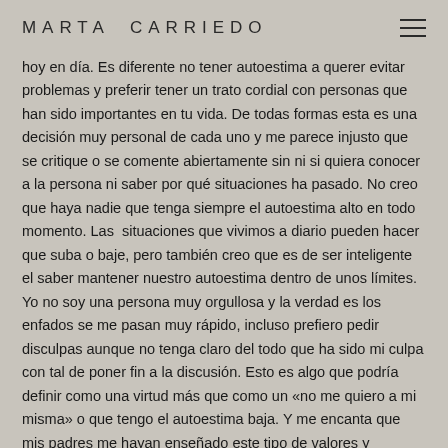MARTA CARRIEDO
hoy en día. Es diferente no tener autoestima a querer evitar problemas y preferir tener un trato cordial con personas que han sido importantes en tu vida. De todas formas esta es una decisión muy personal de cada uno y me parece injusto que se critique o se comente abiertamente sin ni si quiera conocer a la persona ni saber por qué situaciones ha pasado. No creo que haya nadie que tenga siempre el autoestima alto en todo momento. Las  situaciones que vivimos a diario pueden hacer que suba o baje, pero también creo que es de ser inteligente el saber mantener nuestro autoestima dentro de unos límites. Yo no soy una persona muy orgullosa y la verdad es los enfados se me pasan muy rápido, incluso prefiero pedir disculpas aunque no tenga claro del todo que ha sido mi culpa con tal de poner fin a la discusión. Esto es algo que podría definir como una virtud más que como un «no me quiero a mi misma» o que tengo el autoestima baja. Y me encanta que mis padres me hayan enseñado este tipo de valores y educación, de seguir siempre hacina delante te hagan lo